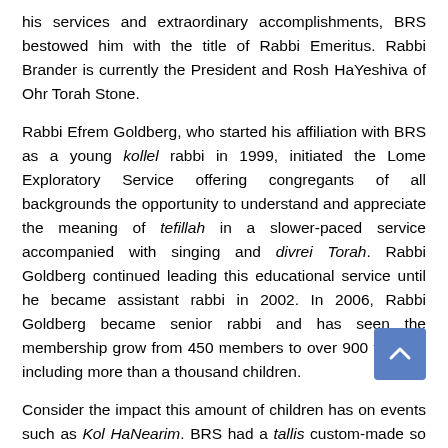his services and extraordinary accomplishments, BRS bestowed him with the title of Rabbi Emeritus. Rabbi Brander is currently the President and Rosh HaYeshiva of Ohr Torah Stone.
Rabbi Efrem Goldberg, who started his affiliation with BRS as a young kollel rabbi in 1999, initiated the Lome Exploratory Service offering congregants of all backgrounds the opportunity to understand and appreciate the meaning of tefillah in a slower-paced service accompanied with singing and divrei Torah. Rabbi Goldberg continued leading this educational service until he became assistant rabbi in 2002. In 2006, Rabbi Goldberg became senior rabbi and has seen the membership grow from 450 members to over 900 families including more than a thousand children.
Consider the impact this amount of children has on events such as Kol HaNearim. BRS had a tallis custom-made so that all of the children under bar/bat mitzvah age could fit underneath it for Simchas Torah. The 1,471-square foot tallis holds the Guinness